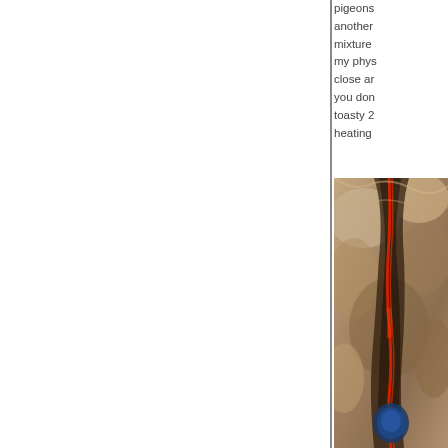pigeons another mixture my phys close ar you don toasty 2 heating
[Figure (photo): Close-up photo of what appears to be a cave or rock crevice with a red cord or rope running vertically through the center and a blue object visible at the bottom.]